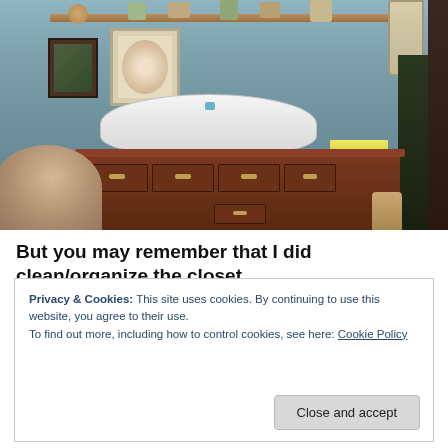[Figure (photo): Indoor room photo showing a wooden dresser/chest of drawers with a large white plastic bag on top, yellow papers/folders, framed pictures on a light blue-green wall, a decorative shelf above with small items, a beige sofa/chair in the foreground left, a purple cup on the left, and a dark plant or door on the right.]
But you may remember that I did clean/organize the closet
Privacy & Cookies: This site uses cookies. By continuing to use this website, you agree to their use.
To find out more, including how to control cookies, see here: Cookie Policy
Close and accept